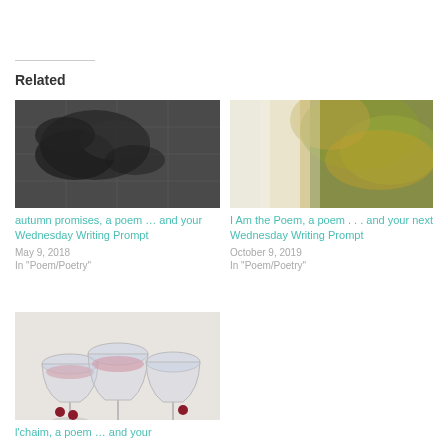Related
[Figure (photo): Black and white photo of autumn leaves on tiled pavement]
autumn promises, a poem … and your Wednesday Writing Prompt
May 9, 2018
In "Poem/Poetry"
[Figure (photo): Misty autumn forest with golden and green leaves, soft light]
I Am the Poem, a poem . . . and your next Wednesday Writing Prompt
October 9, 2019
In "Poem/Poetry"
[Figure (photo): Three champagne coupe glasses with pink liquid and cherries on white surface]
l'chaim, a poem … and your